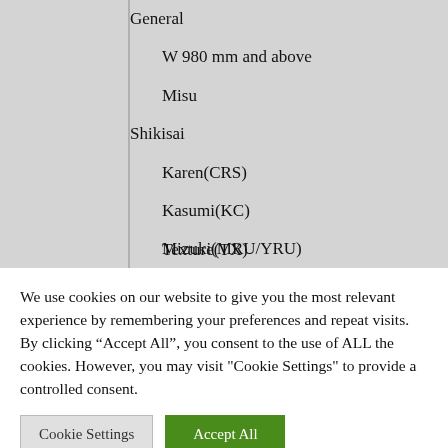General
W 980 mm and above
Misu
Shikisai
Karen(CRS)
Kasumi(KC)
Mizuki(MRU/YRU)
Aoi(SS/YSS)
Texture(TX)
We use cookies on our website to give you the most relevant experience by remembering your preferences and repeat visits. By clicking “Accept All”, you consent to the use of ALL the cookies. However, you may visit "Cookie Settings" to provide a controlled consent.
Cookie Settings | Accept All